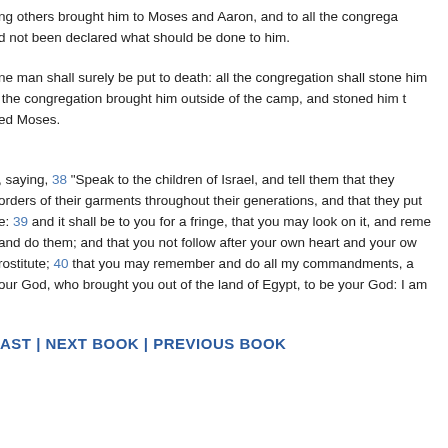ng others brought him to Moses and Aaron, and to all the congregation: and not been declared what should be done to him.
he man shall surely be put to death: all the congregation shall stone him with stones outside of the camp. the congregation brought him outside of the camp, and stoned him to death with stones; as Yahweh commanded Moses. ed Moses.
, saying, 38 "Speak to the children of Israel, and tell them that they make fringes on the borders of their garments throughout their generations, and that they put on the fringe of each border a cord of blue: 39 and it shall be to you for a fringe, that you may look on it, and remember all the commandments of Yahweh, and do them; and that you not follow after your own heart and your own eyes, after which you use to prostitute; 40 that you may remember and do all my commandments, and be holy to your God, who brought you out of the land of Egypt, to be your God: I am
AST | NEXT BOOK | PREVIOUS BOOK